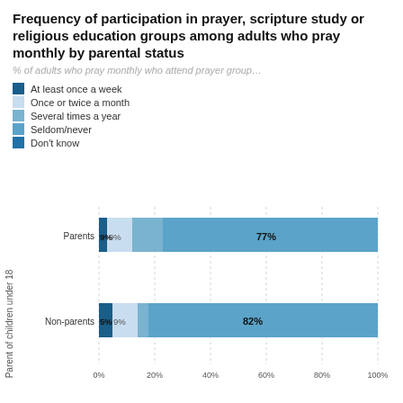Frequency of participation in prayer, scripture study or religious education groups among adults who pray monthly by parental status
% of adults who pray monthly who attend prayer group…
At least once a week
Once or twice a month
Several times a year
Seldom/never
Don't know
[Figure (stacked-bar-chart): Frequency of participation in prayer, scripture study or religious education groups among adults who pray monthly by parental status]